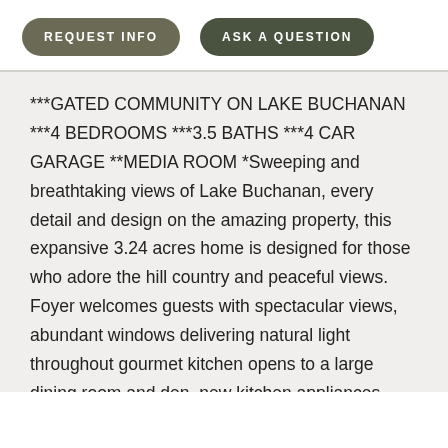REQUEST INFO
ASK A QUESTION
***GATED COMMUNITY ON LAKE BUCHANAN ***4 BEDROOMS ***3.5 BATHS ***4 CAR GARAGE **MEDIA ROOM *Sweeping and breathtaking views of Lake Buchanan, every detail and design on the amazing property, this expansive 3.24 acres home is designed for those who adore the hill country and peaceful views. Foyer welcomes guests with spectacular views, abundant windows delivering natural light throughout gourmet kitchen opens to a large dining room and den, new kitchen appliances, granite countertops, new Anderson custom windows and